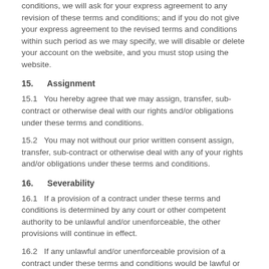conditions, we will ask for your express agreement to any revision of these terms and conditions; and if you do not give your express agreement to the revised terms and conditions within such period as we may specify, we will disable or delete your account on the website, and you must stop using the website.
15.     Assignment
15.1   You hereby agree that we may assign, transfer, sub-contract or otherwise deal with our rights and/or obligations under these terms and conditions.
15.2   You may not without our prior written consent assign, transfer, sub-contract or otherwise deal with any of your rights and/or obligations under these terms and conditions.
16.     Severability
16.1   If a provision of a contract under these terms and conditions is determined by any court or other competent authority to be unlawful and/or unenforceable, the other provisions will continue in effect.
16.2   If any unlawful and/or unenforceable provision of a contract under these terms and conditions would be lawful or enforceable if part of it were deleted, that part will be deemed to be deleted, and